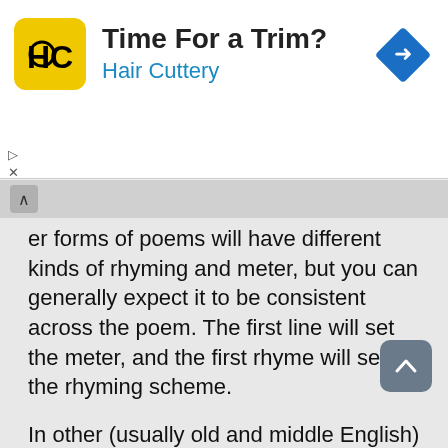[Figure (screenshot): Hair Cuttery advertisement banner with logo, title 'Time For a Trim?', subtitle 'Hair Cuttery', and a navigation arrow icon on the right]
er forms of poems will have different kinds of rhyming and meter, but you can generally expect it to be consistent across the poem. The first line will set the meter, and the first rhyme will set the rhyming scheme.
In other (usually old and middle English) poems you may find alliteration and caesuras that set the way you should read them: there's a pause in mid-line (caesura), and the key words on each side tend to start with the same letter, so you naturally put more stress on those. They tend not to rhyme.
e.g.: